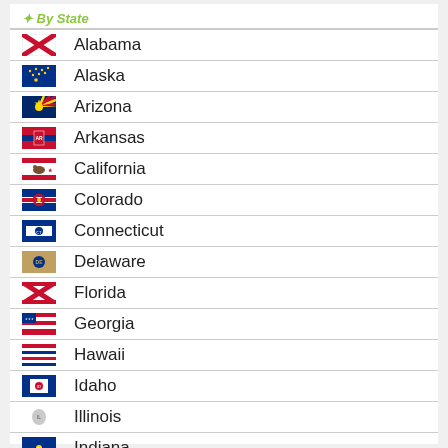Alabama
Alaska
Arizona
Arkansas
California
Colorado
Connecticut
Delaware
Florida
Georgia
Hawaii
Idaho
Illinois
Indiana